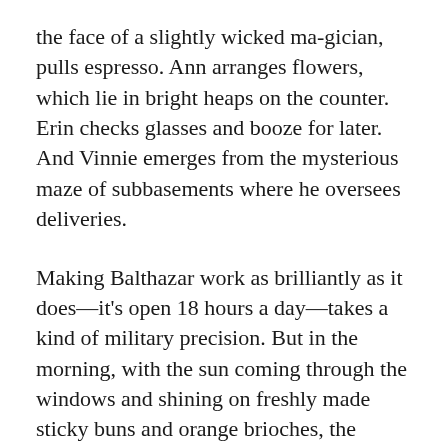the face of a slightly wicked ma-gician, pulls espresso. Ann arranges flowers, which lie in bright heaps on the counter. Erin checks glasses and booze for later. And Vinnie emerges from the mysterious maze of subbasements where he oversees deliveries.
Making Balthazar work as brilliantly as it does—it's open 18 hours a day—takes a kind of military precision. But in the morning, with the sun coming through the windows and shining on freshly made sticky buns and orange brioches, the restaurant is at its most tranquil. The old French mirrors, the zinc surface of the long bar, the wood, the white-and-black tile floors give a sense of dépaysement, a feeling you're in a different country; this is not France, but who